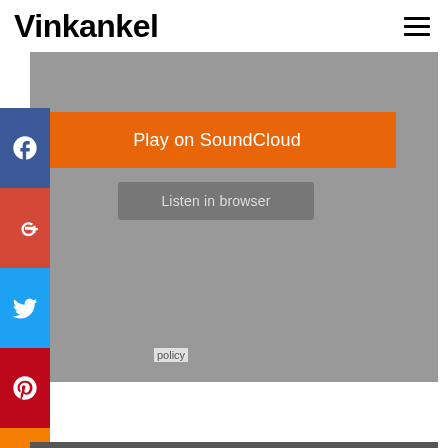Vinkankel
[Figure (screenshot): SoundCloud embedded player widget with gray background, orange 'Play on SoundCloud' button, and gray 'Listen in browser' button. Social media share buttons (Facebook, Google+, Twitter, Pinterest, Blogger, more) are shown on the left side. A 'policy' label appears at the bottom left of the player.]